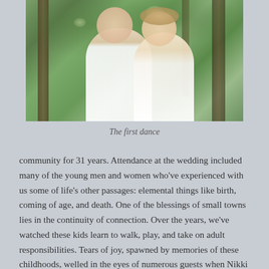[Figure (photo): A smiling couple posing together outdoors among green trees; the man wears a white shirt and the woman is in white, both appear to be at a wedding or outdoor celebration.]
The first dance
community for 31 years. Attendance at the wedding included many of the young men and women who've experienced with us some of life's other passages: elemental things like birth, coming of age, and death. One of the blessings of small towns lies in the continuity of connection. Over the years, we've watched these kids learn to walk, play, and take on adult responsibilities. Tears of joy, spawned by memories of these childhoods, welled in the eyes of numerous guests when Nikki and Ike took the floor for the first